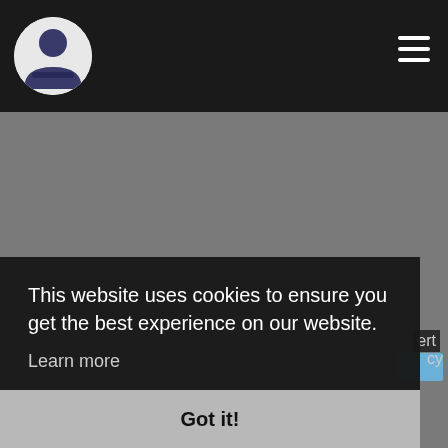[Figure (screenshot): Website screenshot showing a dark navigation bar with a circular avatar photo and hamburger menu icon on the top right]
[Figure (screenshot): Browser extension page showing Color Tab extension with a sunset background image and a circular number 1 badge/icon]
This website uses cookies to ensure you get the best experience on our website.
Learn more
Got it!